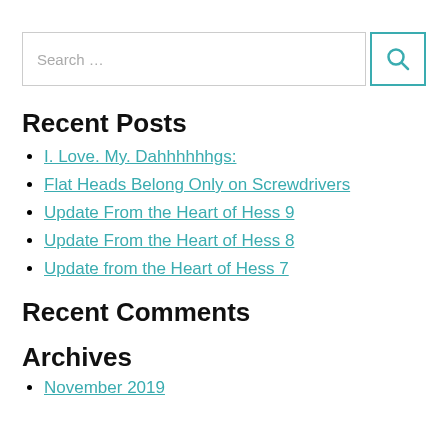Search …
Recent Posts
I. Love. My. Dahhhhhhgs:
Flat Heads Belong Only on Screwdrivers
Update From the Heart of Hess 9
Update From the Heart of Hess 8
Update from the Heart of Hess 7
Recent Comments
Archives
November 2019